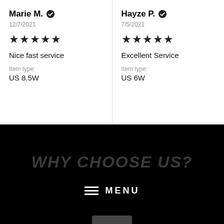Marie M. ✔
12/7/2021
★★★★★
Nice fast service
Item type:
US 8.5W
Hayze P. ✔
7/5/2021
★★★★★
Excellent Service
Item type:
US 6W
WHY CHOOSE US?
MENU